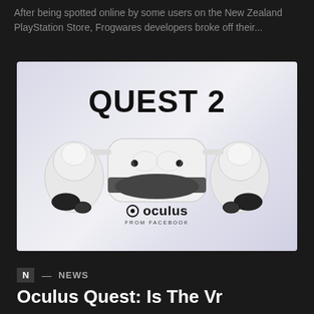After being spotted online by some users on the New Zealand PlayStation Store, Frogwares developers broke off their...
[Figure (photo): Oculus Quest 2 VR headset product image showing the white headset and two controllers on a light grey/purple gradient background with 'QUEST 2' text in bold and 'oculus from FACEBOOK' branding at the bottom]
N — NEWS
Oculus Quest: Is The Vr